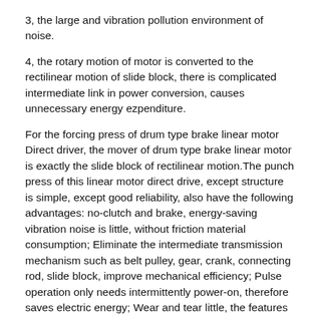3, the large and vibration pollution environment of noise.
4, the rotary motion of motor is converted to the rectilinear motion of slide block, there is complicated intermediate link in power conversion, causes unnecessary energy ezpenditure.
For the forcing press of drum type brake linear motor Direct driver, the mover of drum type brake linear motor is exactly the slide block of rectilinear motion.The punch press of this linear motor direct drive, except structure is simple, except good reliability, also have the following advantages: no-clutch and brake, energy-saving vibration noise is little, without friction material consumption; Eliminate the intermediate transmission mechanism such as belt pulley, gear, crank, connecting rod, slide block, improve mechanical efficiency; Pulse operation only needs intermittently power-on, therefore saves electric energy; Wear and tear little, the features such as high accuracy can be kept for prolonged period of time; Slide block does rectilinear motion, and work uniform force, can improve the quality of products, and saves raw material; Utilize electric servo control, easy to operate, use flexibly, easily be